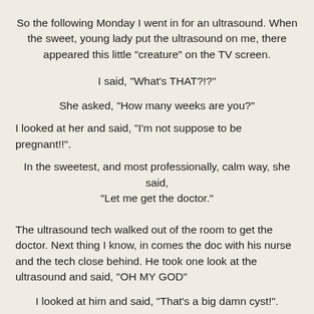So the following Monday I went in for an ultrasound. When the sweet, young lady put the ultrasound on me, there appeared this little "creature" on the TV screen.
I said, "What's THAT?!?"
She asked, "How many weeks are you?"
I looked at her and said, "I'm not suppose to be pregnant!!".
In the sweetest, and most professionally, calm way, she said, "Let me get the doctor."
The ultrasound tech walked out of the room to get the doctor. Next thing I know, in comes the doc with his nurse and the tech close behind. He took one look at the ultrasound and said, "OH MY GOD"
I looked at him and said, "That's a big damn cyst!".